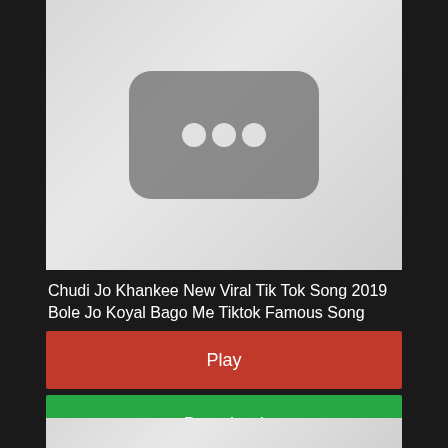[Figure (screenshot): YouTube video thumbnail placeholder with gray background and dark rounded rectangle containing three white dots (loading/unavailable indicator)]
Chudi Jo Khankee New Viral Tik Tok Song 2019 Bole Jo Koyal Bago Me Tiktok Famous Song
Play
Download